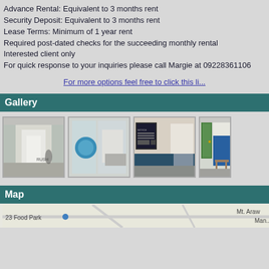Advance Rental: Equivalent to 3 months rent
Security Deposit: Equivalent to 3 months rent
Lease Terms: Minimum of 1 year rent
Required post-dated checks for the succeeding monthly rental
Interested client only
For quick response to your inquiries please call Margie at 09228361106
For more options feel free to click this li...
Gallery
[Figure (photo): Interior hallway of a building, light walls, corridor view]
[Figure (photo): Glass door or partition with blue circular logo/signage]
[Figure (photo): Hallway with bulletin board and blue lower wall]
[Figure (photo): Room interior with green door and blue partition wall]
Map
[Figure (map): Street map showing area near 23 Food Park, Mt. Araw road]